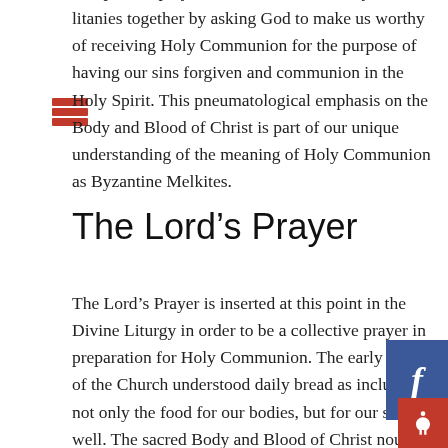The priest's prayer at the end of the Litany ties both litanies together by asking God to make us worthy of receiving Holy Communion for the purpose of having our sins forgiven and communion in the Holy Spirit. This pneumatological emphasis on the Body and Blood of Christ is part of our unique understanding of the meaning of Holy Communion as Byzantine Melkites.
The Lord's Prayer
The Lord's Prayer is inserted at this point in the Divine Liturgy in order to be a collective prayer in preparation for Holy Communion. The early Saints of the Church understood daily bread as including not only the food for our bodies, but for our souls as well. The sacred Body and Blood of Christ nourish both our soul and body in preparation for eternal life. Jesus said quite plainly in St. John's Gospel, I am the Bread of Life (John 6: 35). He also said, I am the living Bread that came down from Heaven; whoever eats this Bread will live forever; and the Bread that I will give is my flesh for the life of the world (John 6: 51). There is also an early Christian translation of the Lord's Prayer that rendered daily bread as divine